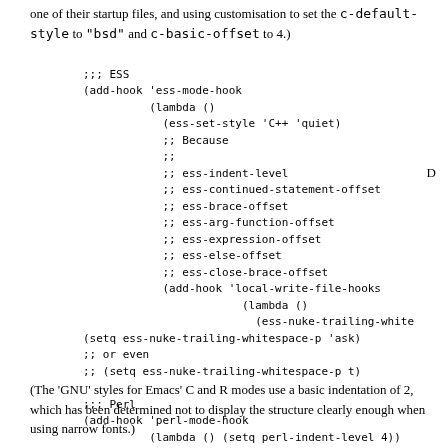one of their startup files, and using customisation to set the c-default-style to "bsd" and c-basic-offset to 4.)
;;; ESS
(add-hook 'ess-mode-hook
          (lambda ()
            (ess-set-style 'C++ 'quiet)
            ;; Because
            ;;
            ;; ess-indent-level
            ;; ess-continued-statement-offset
            ;; ess-brace-offset
            ;; ess-arg-function-offset
            ;; ess-expression-offset
            ;; ess-else-offset
            ;; ess-close-brace-offset
            (add-hook 'local-write-file-hooks
                        (lambda ()
                          (ess-nuke-trailing-white
(setq ess-nuke-trailing-whitespace-p 'ask)
;; or even
;; (setq ess-nuke-trailing-whitespace-p t)

;;; Perl
(add-hook 'perl-mode-hook
          (lambda () (setq perl-indent-level 4))
(The 'GNU' styles for Emacs' C and R modes use a basic indentation of 2, which has been determined not to display the structure clearly enough when using narrow fonts.)